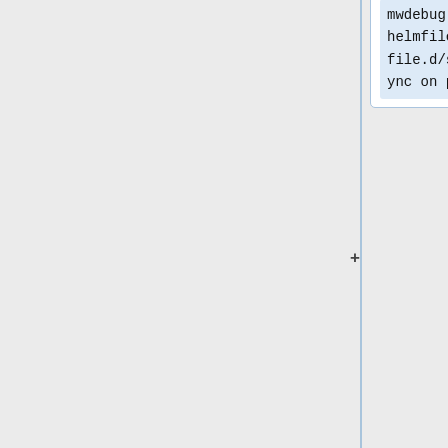mwdebug-deploy@deploy1002: helmfile [codfw] DONE helmfile.d/services/mwdebug: sync on pinkunicorn
* 18:32 mwdebug-deploy@deploy1002: helmfile [codfw] START helmfile.d/services/mwdebug: apply